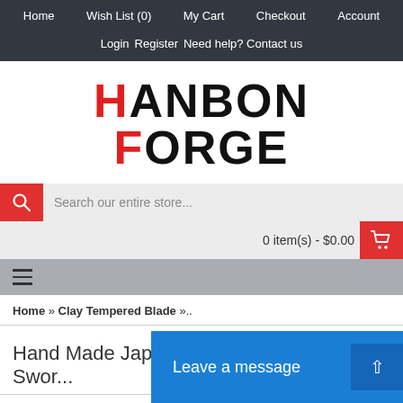Home  Wish List (0)  My Cart  Checkout  Account
Login  Register  Need help? Contact us
HANBON FORGE
Search our entire store...
0 item(s) - $0.00
Home » Clay Tempered Blade »..
Hand Made Japanese TANTO Samurai Swor...
Clic...
Leave a message